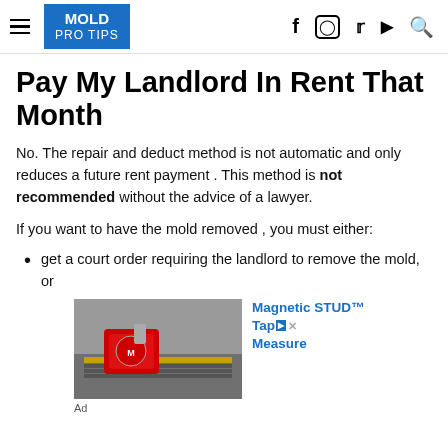MOLD PRO TIPS
Pay My Landlord In Rent That Month
No. The repair and deduct method is not automatic and only reduces a future rent payment . This method is not recommended without the advice of a lawyer.
If you want to have the mold removed , you must either:
get a court order requiring the landlord to remove the mold, or
[Figure (photo): Hand holding a red Milwaukee tape measure on metal tracks, advertisement image for Magnetic STUD Tape Measure]